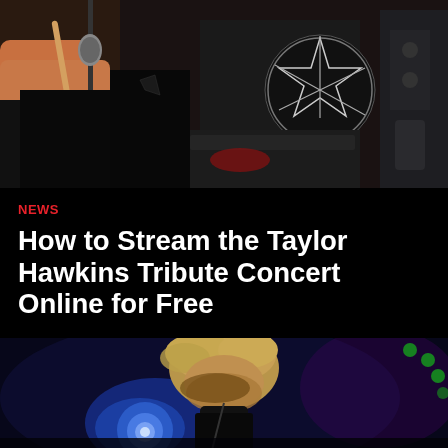[Figure (photo): Close-up photo of a drummer playing drums, hands visible on drumsticks, dark background with drum kit and cymbal with pentagram/star symbol visible]
NEWS
How to Stream the Taylor Hawkins Tribute Concert Online for Free
[Figure (photo): Photo of a performer/drummer with blonde hair on stage, blue spotlight behind them, green stage lights visible in background]
[Figure (other): Advertisement banner for Loudoun soccer: TICKETS ON SALE NOW - PROFESSIONAL SOCCER IN LEESBURG with Loudoun United FC shield logo]